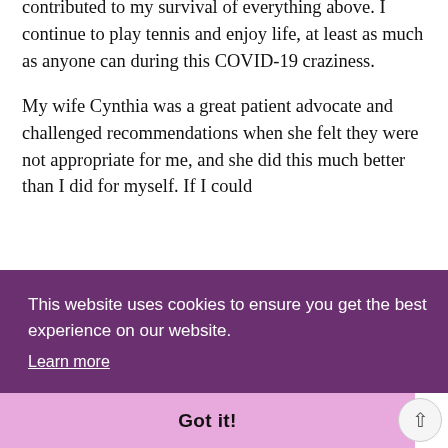contributed to my survival of everything above. I continue to play tennis and enjoy life, at least as much as anyone can during this COVID-19 craziness.
My wife Cynthia was a great patient advocate and challenged recommendations when she felt they were not appropriate for me, and she did this much better than I did for myself. If I could [... partial text obscured by overlay ...] nst [...]lly [...]tions
[Figure (screenshot): Cookie consent overlay banner with purple background. Text reads: 'This website uses cookies to ensure you get the best experience on our website.' with a 'Learn more' underlined link. Below is a pink/lavender bar with 'Got it!' button in bold. A circular scroll-to-top arrow button appears at bottom right.]